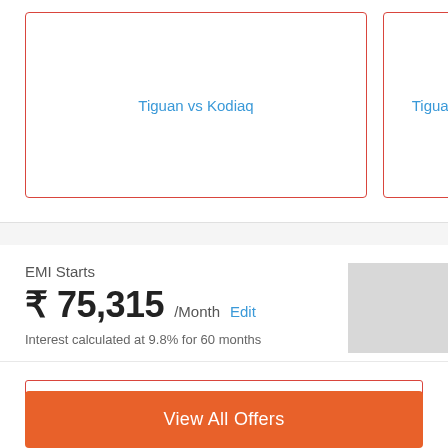Tiguan vs Kodiaq
Tiguan vs
EMI Starts
₹75,315 /Month  Edit
Interest calculated at 9.8% for 60 months
View Finance Offers
Tiguan Ownership Cost
View All Offers